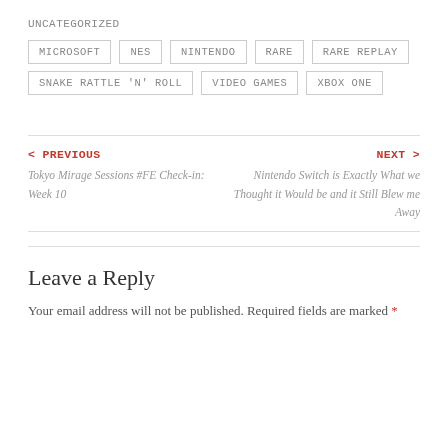UNCATEGORIZED
MICROSOFT
NES
NINTENDO
RARE
RARE REPLAY
SNAKE RATTLE 'N' ROLL
VIDEO GAMES
XBOX ONE
< PREVIOUS
Tokyo Mirage Sessions #FE Check-in: Week 10
NEXT >
Nintendo Switch is Exactly What we Thought it Would be and it Still Blew me Away
Leave a Reply
Your email address will not be published. Required fields are marked *